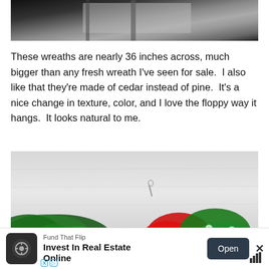[Figure (photo): Top portion of a photo showing a dark window or door frame with a wreath, cropped at bottom]
These wreaths are nearly 36 inches across, much bigger than any fresh wreath I've seen for sale.  I also like that they're made of cedar instead of pine.  It's a nice change in texture, color, and I love the floppy way it hangs.  It looks natural to me.
[Figure (photo): Photo of a cedar wreath with red and green polka-dot ribbon decorations and pine foliage against a light background]
Fund That Flip
Invest In Real Estate Online
Open